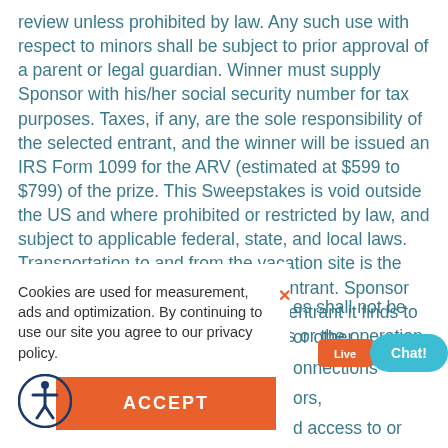review unless prohibited by law. Any such use with respect to minors shall be subject to prior approval of a parent or legal guardian. Winner must supply Sponsor with his/her social security number for tax purposes. Taxes, if any, are the sole responsibility of the selected entrant, and the winner will be issued an IRS Form 1099 for the ARV (estimated at $599 to $799) of the prize. This Sweepstakes is void outside the US and where prohibited or restricted by law, and subject to applicable federal, state, and local laws. Transportation to and from the vacation site is the sole responsibility of the selected entrant. Sponsor reserves the right to disqualify any entrant it finds to be tampering with the entry process or the operation of the Sweepstakes or
es shall not be or other onnections ors, d access to or
Cookies are used for measurement, ads and optimization. By continuing to use our site you agree to our privacy policy.
ACCEPT